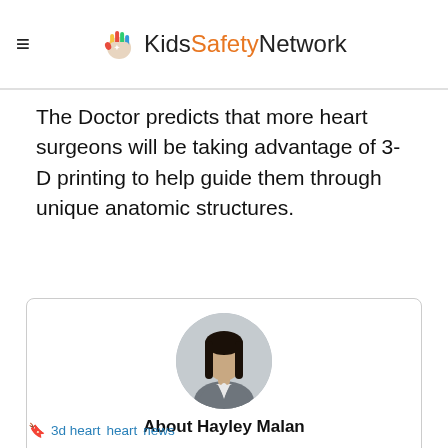KidsSafetyNetwork
The Doctor predicts that more heart surgeons will be taking advantage of 3-D printing to help guide them through unique anatomic structures.
[Figure (photo): Circular profile photo of Hayley Malan, a woman with long dark hair wearing a gray blazer]
About Hayley Malan
Hayley Malan is a full time working Mom and freelance writer. She gets her inspiration from her own experiences as a mother.
3d heart   heart   news